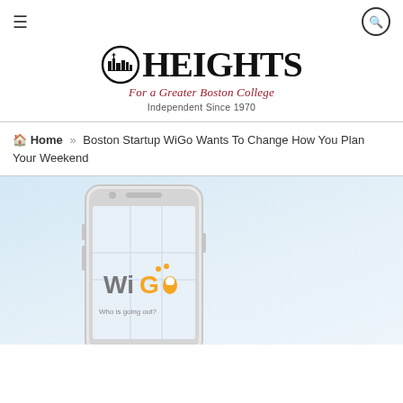≡ | 🔍
HEIGHTS — For a Greater Boston College — Independent Since 1970
Home » Boston Startup WiGo Wants To Change How You Plan Your Weekend
[Figure (photo): A smartphone displaying the WiGo app logo and 'Who is going out?' text on the screen, set against a light blue gradient background.]